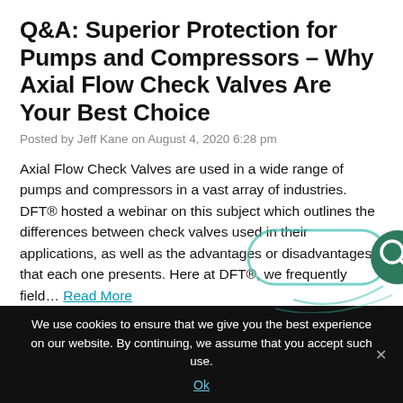Q&A: Superior Protection for Pumps and Compressors – Why Axial Flow Check Valves Are Your Best Choice
Posted by Jeff Kane on August 4, 2020 6:28 pm
Axial Flow Check Valves are used in a wide range of pumps and compressors in a vast array of industries. DFT® hosted a webinar on this subject which outlines the differences between check valves used in their applications, as well as the advantages or disadvantages that each one presents. Here at DFT®, we frequently field… Read More
Tags: Axial Flow Check Valve, pumps and compressors, webinar
[Figure (other): Search icon overlay with teal rounded rectangle border and magnifying glass icon]
We use cookies to ensure that we give you the best experience on our website. By continuing, we assume that you accept such use.
Ok